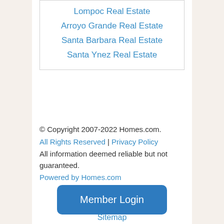Lompoc Real Estate
Arroyo Grande Real Estate
Santa Barbara Real Estate
Santa Ynez Real Estate
© Copyright 2007-2022 Homes.com.
All Rights Reserved | Privacy Policy
All information deemed reliable but not guaranteed.
Powered by Homes.com
Member Login
Sitemap